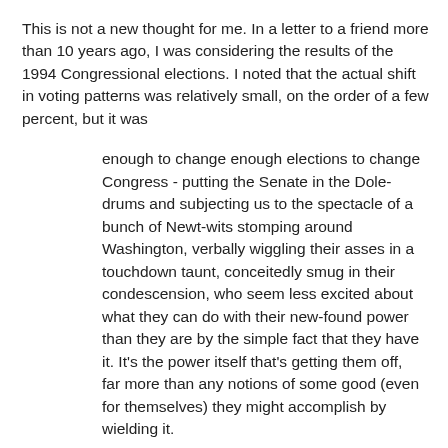This is not a new thought for me. In a letter to a friend more than 10 years ago, I was considering the results of the 1994 Congressional elections. I noted that the actual shift in voting patterns was relatively small, on the order of a few percent, but it was
enough to change enough elections to change Congress - putting the Senate in the Dole-drums and subjecting us to the spectacle of a bunch of Newt-wits stomping around Washington, verbally wiggling their asses in a touchdown taunt, conceitedly smug in their condescension, who seem less excited about what they can do with their new-found power than they are by the simple fact that they have it. It's the power itself that's getting them off, far more than any notions of some good (even for themselves) they might accomplish by wielding it.
I maintain that that, in fact, was a big part of the reason why the "Gingrich Revolution" didn't come off as predicted: While he had a number of wily generals, too many of his troops